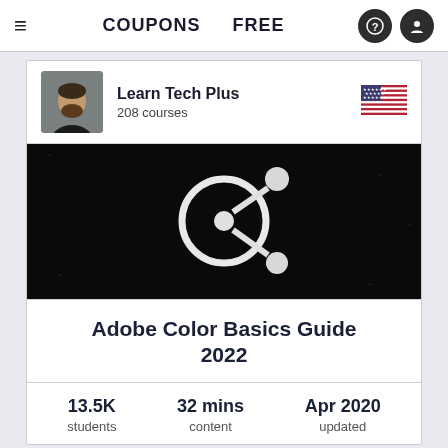≡  COUPONS  FREE
Learn Tech Plus
208 courses
[Figure (screenshot): Course thumbnail: dark/black background with white Adobe-style share/network icon (circle with nodes)]
Adobe Color Basics Guide 2022
13.5K students   32 mins content   Apr 2020 updated